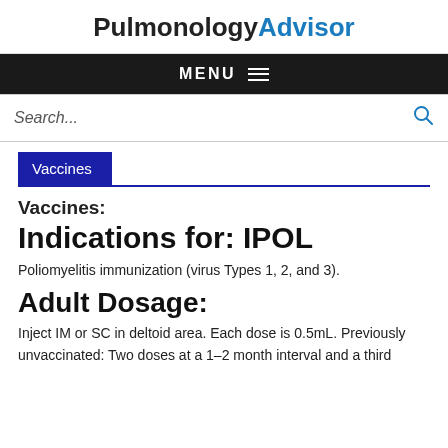PulmonologyAdvisor
MENU
Search...
Vaccines
Vaccines:
Indications for: IPOL
Poliomyelitis immunization (virus Types 1, 2, and 3).
Adult Dosage:
Inject IM or SC in deltoid area. Each dose is 0.5mL. Previously unvaccinated: Two doses at a 1–2 month interval and a third